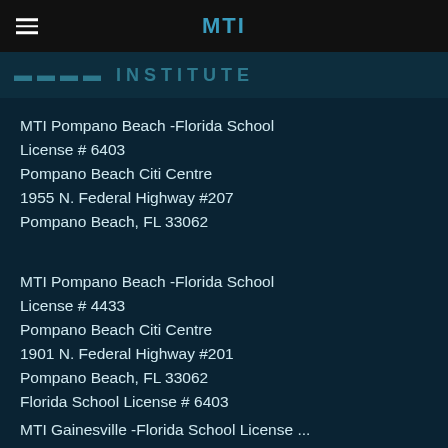MTI
INSTITUTE
MTI Pompano Beach -Florida School
License # 6403
Pompano Beach Citi Centre
1955 N. Federal Highway #207
Pompano Beach, FL 33062
MTI Pompano Beach -Florida School
License # 4433
Pompano Beach Citi Centre
1901 N. Federal Highway #201
Pompano Beach, FL 33062
Florida School License # 6403
MTI Gainesville -Florida School License...